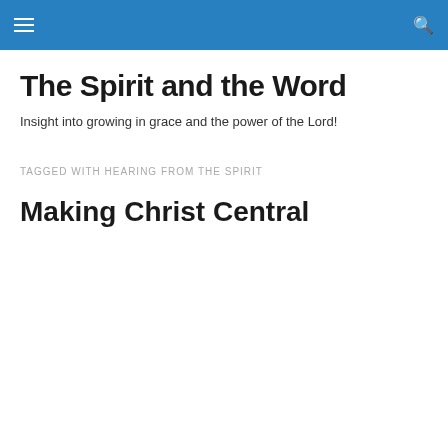The Spirit and the Word
Insight into growing in grace and the power of the Lord!
TAGGED WITH HEARING FROM THE SPIRIT
Making Christ Central